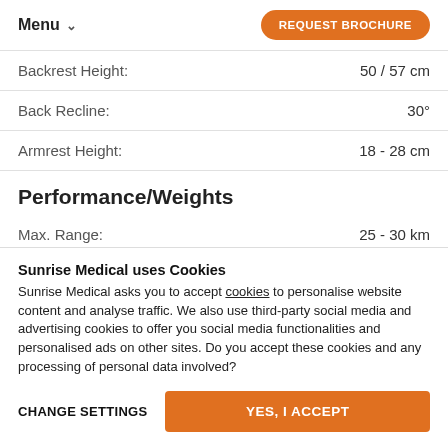Menu | REQUEST BROCHURE
| Specification | Value |
| --- | --- |
| Backrest Height: | 50 / 57 cm |
| Back Recline: | 30° |
| Armrest Height: | 18 - 28 cm |
Performance/Weights
| Specification | Value |
| --- | --- |
| Max. Range: | 25 - 30 km |
Sunrise Medical uses Cookies
Sunrise Medical asks you to accept cookies to personalise website content and analyse traffic. We also use third-party social media and advertising cookies to offer you social media functionalities and personalised ads on other sites. Do you accept these cookies and any processing of personal data involved?
CHANGE SETTINGS | YES, I ACCEPT